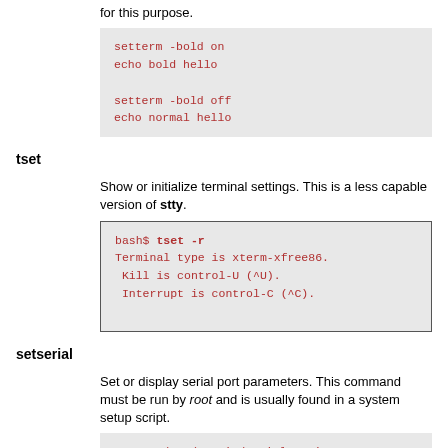for this purpose.
setterm -bold on
echo bold hello

setterm -bold off
echo normal hello
tset
Show or initialize terminal settings. This is a less capable version of stty.
bash$ tset -r
Terminal type is xterm-xfree86.
 Kill is control-U (^U).
 Interrupt is control-C (^C).
setserial
Set or display serial port parameters. This command must be run by root and is usually found in a system setup script.
# From /etc/pcmcia/serial script:

IRQ=`setserial /dev/$DEVICE | sed -e 's/.*IRQ: //'`
setserial /dev/$DEVICE irq 0 ; setserial /dev/$DEVICE
getty, agetty